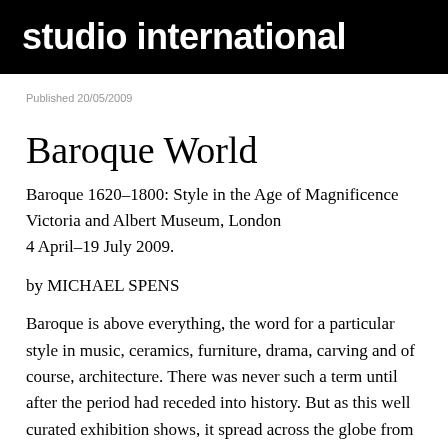studio international
Published 20/05/2009
Baroque World
Baroque 1620–1800: Style in the Age of Magnificence
Victoria and Albert Museum, London
4 April–19 July 2009.
by MICHAEL SPENS
Baroque is above everything, the word for a particular style in music, ceramics, furniture, drama, carving and of course, architecture. There was never such a term until after the period had receded into history. But as this well curated exhibition shows, it spread across the globe from